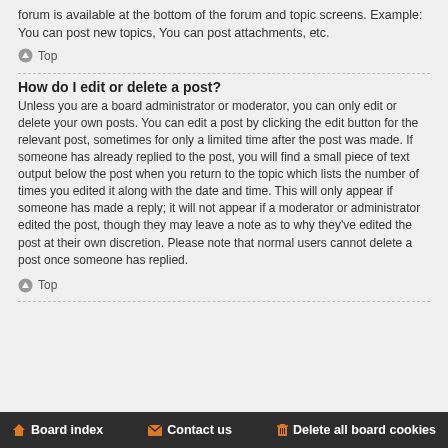forum is available at the bottom of the forum and topic screens. Example: You can post new topics, You can post attachments, etc.
Top
How do I edit or delete a post?
Unless you are a board administrator or moderator, you can only edit or delete your own posts. You can edit a post by clicking the edit button for the relevant post, sometimes for only a limited time after the post was made. If someone has already replied to the post, you will find a small piece of text output below the post when you return to the topic which lists the number of times you edited it along with the date and time. This will only appear if someone has made a reply; it will not appear if a moderator or administrator edited the post, though they may leave a note as to why they've edited the post at their own discretion. Please note that normal users cannot delete a post once someone has replied.
Top
Board index   Contact us   Delete all board cookies